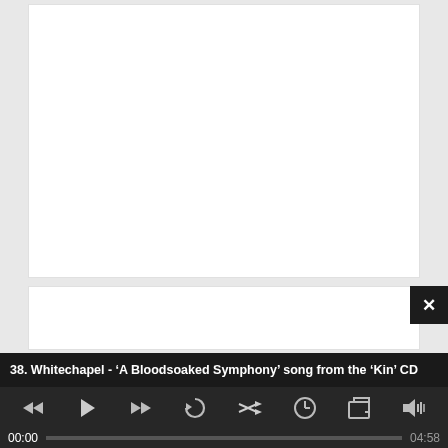[Figure (screenshot): White content card area — top portion of a web article card, blank/image area above title]
Opeth liberates single from the ‘Pale Communion’ album
[Figure (screenshot): Second white content card, mostly blank]
38. Whitechapel - ‘A Bloodsoaked Symphony’ song from the ‘Kin’ CD
[Figure (other): Media player controls bar with rewind, play, fast-forward, refresh, shuffle, clock, popout, and volume icons, plus a progress bar showing 00:00 to 04:58]